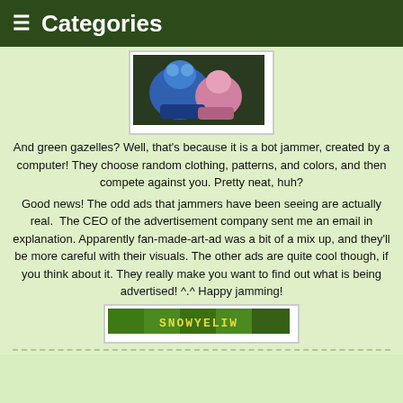Categories
[Figure (illustration): Screenshot of animated characters - a blue creature and a pink character from an Animal Jam-style game]
And green gazelles? Well, that’s because it is a bot jammer, created by a computer! They choose random clothing, patterns, and colors, and then compete against you. Pretty neat, huh?
Good news! The odd ads that jammers have been seeing are actually real.  The CEO of the advertisement company sent me an email in explanation. Apparently fan-made-art-ad was a bit of a mix up, and they'll be more careful with their visuals. The other ads are quite cool though, if you think about it. They really make you want to find out what is being advertised! ^.^ Happy jamming!
[Figure (screenshot): Image showing 'SNOWYELIW' text on a green camouflage background - an in-game advertisement banner]